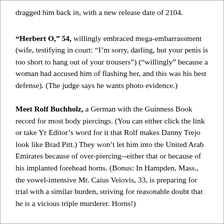dragged him back in, with a new release date of 2104.
“Herbert O,” 54, willingly embraced mega-embarrassment (wife, testifying in court: “I’m sorry, darling, but your penis is too short to hang out of your trousers”) (“willingly” because a woman had accused him of flashing her, and this was his best defense). (The judge says he wants photo evidence.)
Meet Rolf Buchholz, a German with the Guinness Book record for most body piercings. (You can either click the link or take Yr Editor’s word for it that Rolf makes Danny Trejo look like Brad Pitt.) They won’t let him into the United Arab Emirates because of over-piercing--either that or because of his implanted forehead horns. (Bonus: In Hampden, Mass., the vowel-intensive Mr. Caius Veiovis, 33, is preparing for trial with a similar burden, striving for reasonable doubt that he is a vicious triple murderer. Horns!)